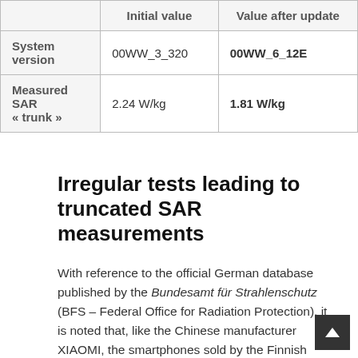|  | Initial value | Value after update |
| --- | --- | --- |
| System version | 00WW_3_320 | 00WW_6_12E |
| Measured SAR « trunk » | 2.24 W/kg | 1.81 W/kg |
Irregular tests leading to truncated SAR measurements
With reference to the official German database published by the Bundesamt für Strahlenschutz (BFS – Federal Office for Radiation Protection), it is noted that, like the Chinese manufacturer XIAOMI, the smartphones sold by the Finnish manufacturer HMD GLOBAL OY have numerous regulatory irregularities. The new European regulation (Directive 2014/53/EU) requires since June